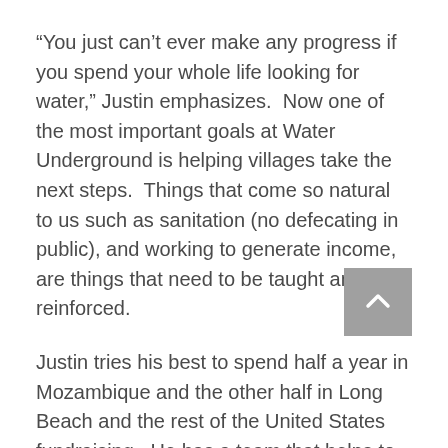“You just can’t ever make any progress if you spend your whole life looking for water,” Justin emphasizes.  Now one of the most important goals at Water Underground is helping villages take the next steps.  Things that come so natural to us such as sanitation (no defecating in public), and working to generate income, are things that need to be taught and reinforced.
Justin tries his best to spend half a year in Mozambique and the other half in Long Beach and the rest of the United States fundraising.  He has a team that helps to run and train the locals at new wells.  However, Justin is very hand-on.  He’s currently in the midst of a seven-